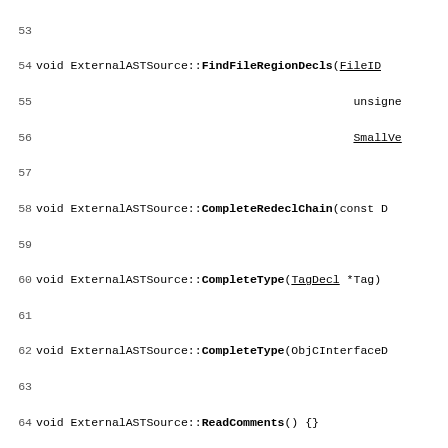Source code listing lines 53-82, ExternalASTSource method implementations in C++
53
54 void ExternalASTSource::FindFileRegionDecls(FileID
55                                               unsigned
56                                               SmallVe
57
58 void ExternalASTSource::CompleteRedeclChain(const D
59
60 void ExternalASTSource::CompleteType(TagDecl *Tag)
61
62 void ExternalASTSource::CompleteType(ObjCInterfaceD
63
64 void ExternalASTSource::ReadComments() {}
65
66 void ExternalASTSource::StartedDeserializing() {}
67
68 void ExternalASTSource::FinishedDeserializing() {}
69
70 void ExternalASTSource::StartTranslationUnit(ASTCon
71
72 void ExternalASTSource::PrintStats() {}
73
74 bool ExternalASTSource::layoutRecordType(
75     const RecordDecl *Record, uint64_t &Size, uint6
76     llvm::DenseMap<const FieldDecl *, uint64_t> &Fi
77     llvm::DenseMap<const CXXRecordDecl *, CharUnits
78     llvm::DenseMap<const CXXRecordDecl *, CharUnits
79   return false;
80 }
81
82 Decl *ExternalASTSource::GetExternalDecl(uint32_t